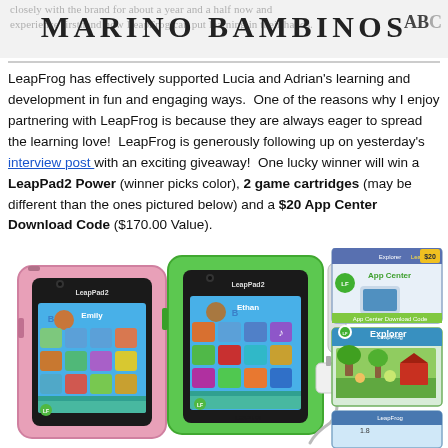MARINO BAMBINOS
LeapFrog has effectively supported Lucia and Adrian's learning and development in fun and engaging ways.  One of the reasons why I enjoy partnering with LeapFrog is because they are always eager to spread the learning love!  LeapFrog is generously following up on yesterday's interview post with an exciting giveaway!  One lucky winner will win a LeapPad2 Power (winner picks color), 2 game cartridges (may be different than the ones pictured below) and a $20 App Center Download Code ($170.00 Value).
[Figure (photo): Two LeapPad2 tablets side by side (pink and green), showing Emily and Ethan profiles with colorful app icons on screen, plus a charger/stylus accessory. On the right side are product boxes: an App Center $20 download card, a LeapFrog Explorer game cartridge box, and a partial third box.]